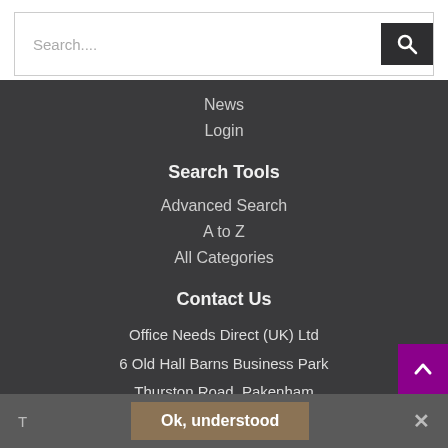[Figure (screenshot): Search bar with text input field and dark search button with magnifying glass icon]
News
Login
Search Tools
Advanced Search
A to Z
All Categories
Contact Us
Office Needs Direct (UK) Ltd
6 Old Hall Barns Business Park
Thurston Road, Pakenham
Bury St Edmunds
Suffolk
T   Ok, understood   ×